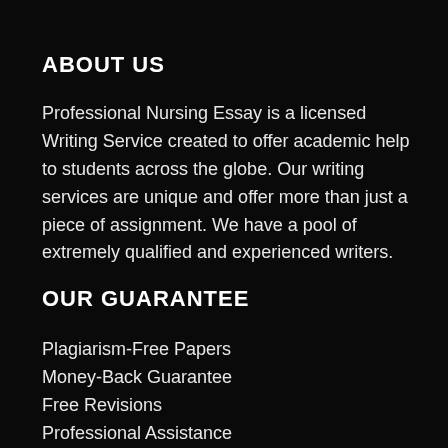ABOUT US
Professional Nursing Essay is a licensed Writing Service created to offer academic help to students across the globe. Our writing services are unique and offer more than just a piece of assignment. We have a pool of extremely qualified and experienced writers.
OUR GUARANTEE
Plagiarism-Free Papers
Money-Back Guarantee
Free Revisions
Professional Assistance